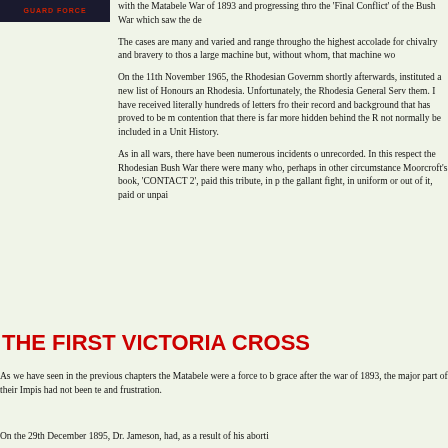[Figure (logo): Dark background logo reading GUARD FORCE in red bold text]
with the Matabele War of 1893 and progressing thro the 'Final Conflict' of the Bush War which saw the de
The cases are many and varied and range througho the highest accolade for chivalry and bravery to thos a large machine but, without whom, that machine wo
On the 11th November 1965, the Rhodesian Governm shortly afterwards, instituted a new list of Honours an Rhodesia. Unfortunately, the Rhodesia General Serv them. I have received literally hundreds of letters fro their record and background that has proved to be m contention that there is far more hidden behind the R not normally be included in a Unit History.
As in all wars, there have been numerous incidents o unrecorded. In this respect the Rhodesian Bush War there were many who, perhaps in other circumstance Moorcroft's book, 'CONTACT 2', paid this tribute, in p the gallant fight, in uniform or out of it, paid or unpai
THE FIRST VICTORIA CROSS
As we have seen in the previous chapters the Matabele were a force to b grace after the war of 1893, the major part of their Impis had not been te and frustration.
On the 29th December 1895, Dr. Jameson, had, as a result of his aborti